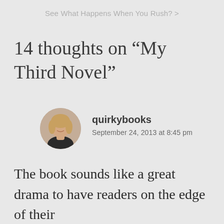See What Happens When You Rush? >
14 thoughts on “My Third Novel”
[Figure (photo): Circular avatar photo of a smiling woman with blonde hair]
quirkybooks
September 24, 2013 at 8:45 pm
The book sounds like a great drama to have readers on the edge of their